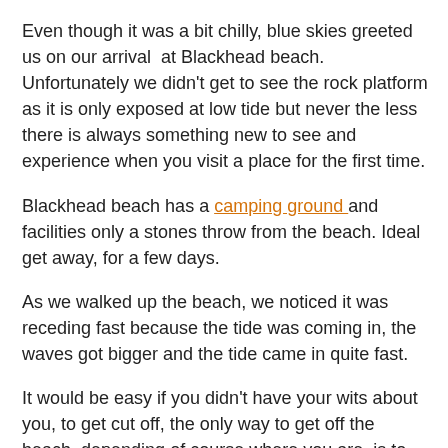Even though it was a bit chilly, blue skies greeted us on our arrival at Blackhead beach. Unfortunately we didn't get to see the rock platform as it is only exposed at low tide but never the less there is always something new to see and experience when you visit a place for the first time.
Blackhead beach has a camping ground and facilities only a stones throw from the beach. Ideal get away, for a few days.
As we walked up the beach, we noticed it was receding fast because the tide was coming in, the waves got bigger and the tide came in quite fast.
It would be easy if you didn't have your wits about you, to get cut off, the only way to get off the beach, depending of course where you are, is to scramble up to the tree line. Which isn't as bad as it sounds because its more or less right on the beach.